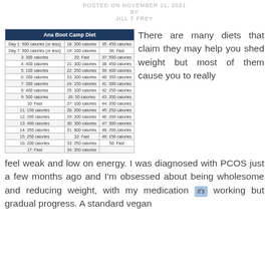POSTED ON NOVEMBER 21, 2021
BY
JILL T FREY
| Ana Boot Camp Diet |  |  |
| --- | --- | --- |
| Day 1: 500 calories (or less) | 18: 200 calories | 35: 450 calories |
| Day 7: 500 calories (or less) | 19: 100 calories | 36: Fast |
| 3: 300 calories | 20: Fast | 37: 500 calories |
| 4: 400 calories | 21: 300 calories | 38: 450 calories |
| 5: 100 calories | 22: 250 calories | 39: 400 calories |
| 6: 200 calories | 23: 200 calories | 40: 350 calories |
| 7: 300 calories | 24: 150 calories | 41: 300 calories |
| 8: 400 calories | 25: 100 calories | 42: 250 calories |
| 9: 500 calories | 26: 50 calories | 43: 200 calories |
| 10: Fast | 27: 100 calories | 44: 200 calories |
| 11: 150 calories | 28: 200 calories | 45: 250 calories |
| 12: 200 calories | 29: 200 calories | 46: 200 calories |
| 13: 400 calories | 30: 300 calories | 47: 300 calories |
| 14: 350 calories | 31: 800 calories | 48: 200 calories |
| 15: 250 calories | 32: Fast | 49: 150 calories |
| 16: 200 calories | 33: 250 calories | 50: Fast |
| 17: Fast | 34: 350 calories |  |
There are many diets that claim they may help you shed weight but most of them cause you to really feel weak and low on energy. I was diagnosed with PCOS just a few months ago and I'm obsessed about being wholesome and reducing weight, with my medication it's working but gradual progress. A standard vegan